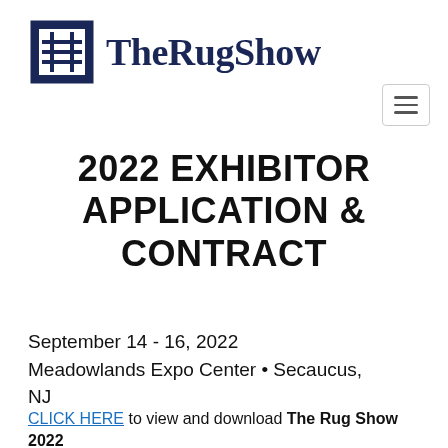[Figure (logo): TheRugShow logo with decorative grid/rug pattern icon on the left and 'TheRugShow' text in dark navy serif font on the right]
2022 EXHIBITOR APPLICATION & CONTRACT
September 14 - 16, 2022
Meadowlands Expo Center • Secaucus, NJ
CLICK HERE to view and download The Rug Show 2022 NJ Exhibitor Contract